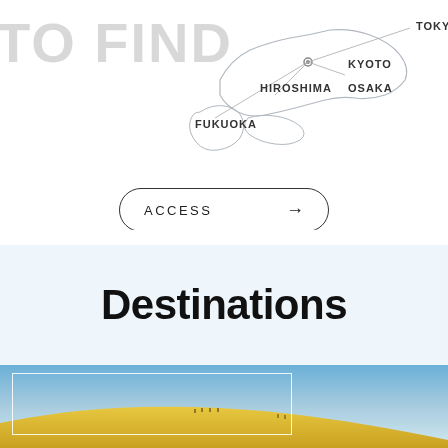TO FIND
[Figure (map): Map of Japan showing city labels: TOKYO, KYOTO, HIROSHIMA, OSAKA, FUKUOKA with route lines and a location marker]
ACCESS →
Destinations
[Figure (photo): Sand dune landscape with golden dunes in the foreground, blue sky above, and small figures visible on the dune ridge. A white rectangle frame overlays the left-center portion of the image.]